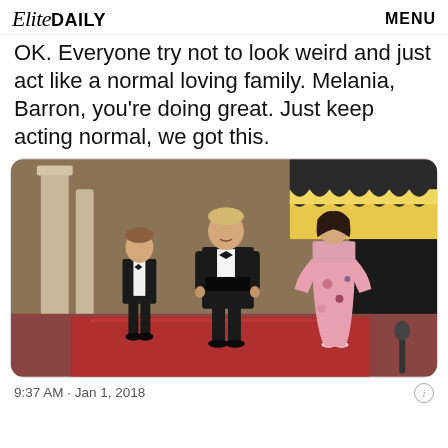Elite DAILY   MENU
OK. Everyone try not to look weird and just act like a normal loving family. Melania, Barron, you're doing great. Just keep acting normal, we got this.
[Figure (photo): Three people standing on a red carpet in formal attire in front of a grand building: a young boy in a tuxedo on the left, a tall man in a tuxedo in the center, and a woman in a pink floral dress on the right.]
9:37 AM · Jan 1, 2018